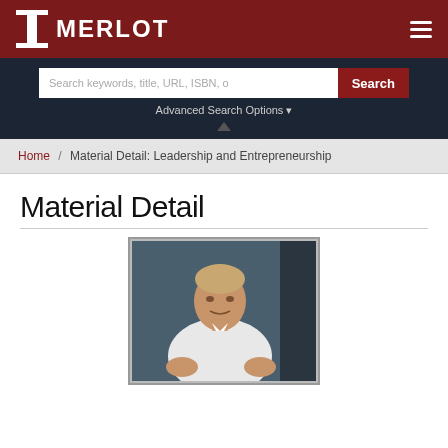MERLOT
Search keywords, title, URL, ISBN, o
Search
Advanced Search Options
Home / Material Detail: Leadership and Entrepreneurship
Material Detail
[Figure (photo): A person in a white shirt standing in front of a dark background, gesturing with both hands as if presenting or speaking.]